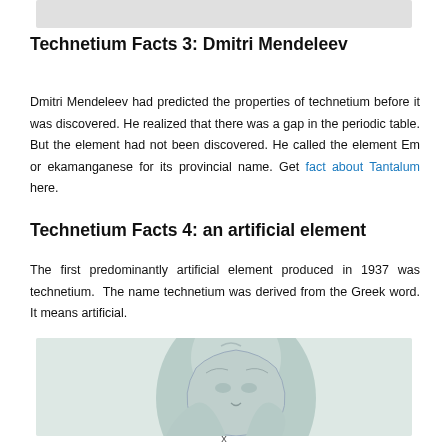[Figure (photo): Top partial image bar, appears to be a cropped photo or decorative element at the top of the page.]
Technetium Facts 3: Dmitri Mendeleev
Dmitri Mendeleev had predicted the properties of technetium before it was discovered. He realized that there was a gap in the periodic table. But the element had not been discovered. He called the element Em or ekamanganese for its provincial name. Get fact about Tantalum here.
Technetium Facts 4: an artificial element
The first predominantly artificial element produced in 1937 was technetium. The name technetium was derived from the Greek word. It means artificial.
[Figure (photo): Partial photo of a bust or sculpture, appears to be a stone or metal statue of a person, cropped at the bottom of the page.]
x